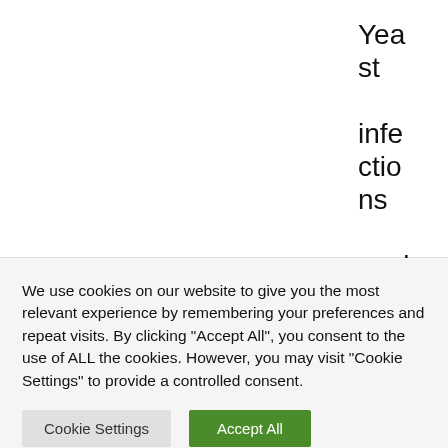Yeast infections could be brought
We use cookies on our website to give you the most relevant experience by remembering your preferences and repeat visits. By clicking "Accept All", you consent to the use of ALL the cookies. However, you may visit "Cookie Settings" to provide a controlled consent.